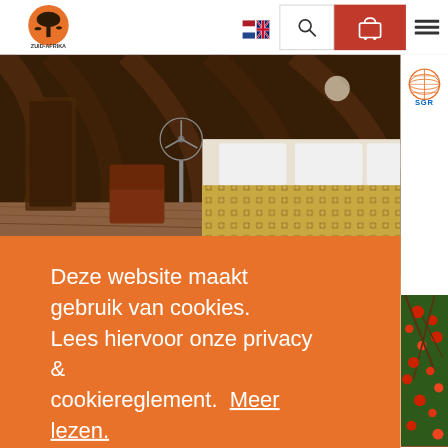[Figure (logo): Zuid-Afrika Specialist logo with baobab tree and African animals silhouette, orange sunset background]
[Figure (other): Dutch and British flag icons for language selection]
[Figure (other): Search icon (magnifying glass) in bordered box]
[Figure (other): Shopping cart icon in red/dark red box]
[Figure (other): Hamburger menu icon (three horizontal lines)]
[Figure (logo): SGR logo — circular globe design with red text SGR]
[Figure (photo): Interior of an African-style accommodation with thatched/bamboo arched ceiling, wooden furniture, patterned bedspread, and a standing fan]
Deze website maakt gebruik van cookies. Lees hiervoor onze privacy & cookiereglement.  Meer lezen.
Ik begrijp het!
[Figure (photo): Red-flowering tree branches against blue sky, visible at bottom right of page]